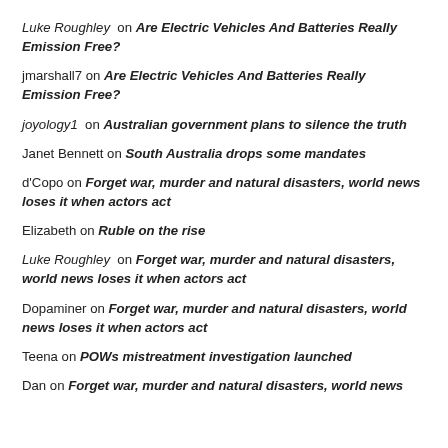Luke Roughley on Are Electric Vehicles And Batteries Really Emission Free?
jmarshall7 on Are Electric Vehicles And Batteries Really Emission Free?
joyology1 on Australian government plans to silence the truth
Janet Bennett on South Australia drops some mandates
d'Copo on Forget war, murder and natural disasters, world news loses it when actors act
Elizabeth on Ruble on the rise
Luke Roughley on Forget war, murder and natural disasters, world news loses it when actors act
Dopaminer on Forget war, murder and natural disasters, world news loses it when actors act
Teena on POWs mistreatment investigation launched
Dan on Forget war, murder and natural disasters, world news